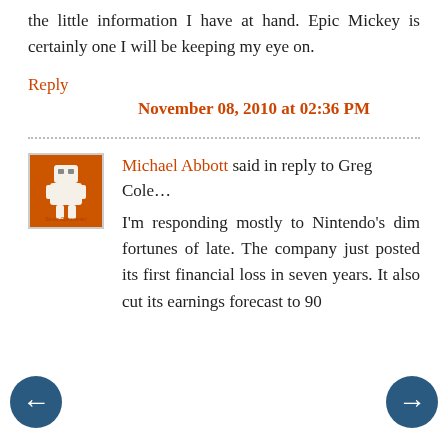the little information I have at hand. Epic Mickey is certainly one I will be keeping my eye on.
Reply
November 08, 2010 at 02:36 PM
[Figure (photo): Avatar image of Michael Abbott - orange square with a cartoon robot/character illustration]
Michael Abbott said in reply to Greg Cole... I'm responding mostly to Nintendo's dim fortunes of late. The company just posted its first financial loss in seven years. It also cut its earnings forecast to 90